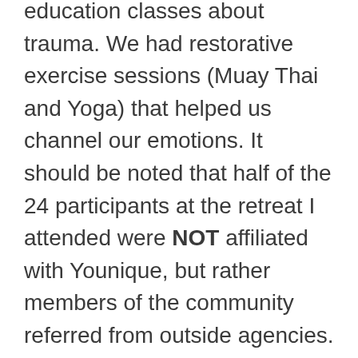education classes about trauma. We had restorative exercise sessions (Muay Thai and Yoga) that helped us channel our emotions. It should be noted that half of the 24 participants at the retreat I attended were NOT affiliated with Younique, but rather members of the community referred from outside agencies.
My advice? Please don't make this into a smarmy sort of thing...because it was quite the opposite. We were cared for from the moment we arrived until the time we left. We were given follow-up